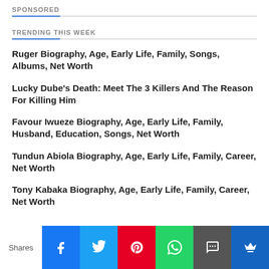SPONSORED
TRENDING THIS WEEK
Ruger Biography, Age, Early Life, Family, Songs, Albums, Net Worth
Lucky Dube's Death: Meet The 3 Killers And The Reason For Killing Him
Favour Iwueze Biography, Age, Early Life, Family, Husband, Education, Songs, Net Worth
Tundun Abiola Biography, Age, Early Life, Family, Career, Net Worth
Tony Kabaka Biography, Age, Early Life, Family, Career, Net Worth
Shares [Facebook] [Twitter] [Pinterest] [WhatsApp] [SMS] [Email]